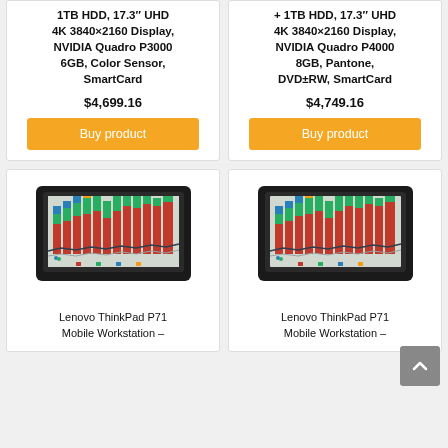1TB HDD, 17.3″ UHD 4K 3840×2160 Display, NVIDIA Quadro P3000 6GB, Color Sensor, SmartCard
$4,699.16
Buy product
+ 1TB HDD, 17.3″ UHD 4K 3840×2160 Display, NVIDIA Quadro P4000 8GB, Pantone, DVD±RW, SmartCard
$4,749.16
Buy product
[Figure (photo): Lenovo ThinkPad P71 laptop with colorful chart on screen]
Lenovo ThinkPad P71 Mobile Workstation –
[Figure (photo): Lenovo ThinkPad P71 laptop with colorful chart on screen]
Lenovo ThinkPad P71 Mobile Workstation –